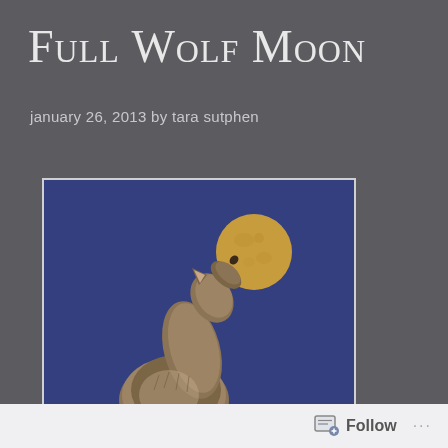Full Wolf Moon
january 26, 2013 by tara sutphen
[Figure (photo): A wolf howling upward at a full moon against a deep blue night sky. The wolf is in the lower portion of the image, head tilted back, and a large golden full moon is visible in the upper right area of the photo.]
Follow ...